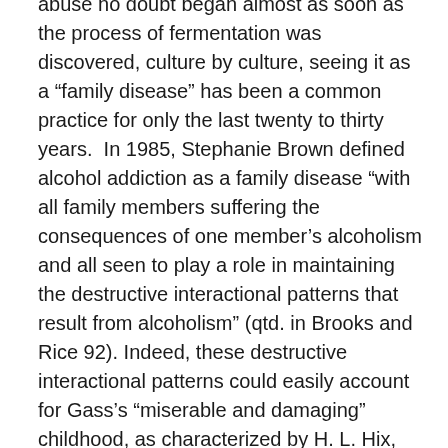abuse no doubt began almost as soon as the process of fermentation was discovered, culture by culture, seeing it as a “family disease” has been a common practice for only the last twenty to thirty years.  In 1985, Stephanie Brown defined alcohol addiction as a family disease “with all family members suffering the consequences of one member’s alcoholism and all seen to play a role in maintaining the destructive interactional patterns that result from alcoholism” (qtd. in Brooks and Rice 92). Indeed, these destructive interactional patterns could easily account for Gass’s “miserable and damaging” childhood, as characterized by H. L. Hix, who quotes Gass as saying, “For a long time I was simply emotionally unable to handle my parents’ illnesses. [. . .] I just fled. [. . .] All along one principal motivation behind my writing has been to be other than the person I am.  To cancel the consequences of the past” (2).